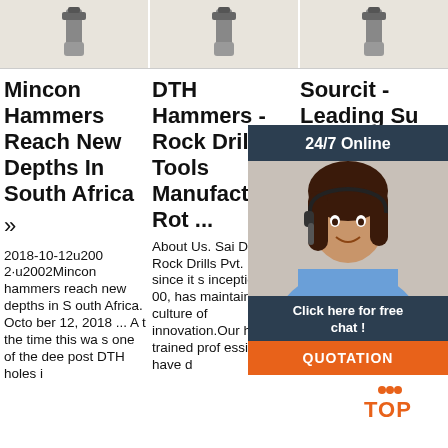[Figure (photo): Three product images at top: three drill bit/DTH hammer tool photos side by side]
Mincon Hammers Reach New Depths In South Africa »
DTH Hammers - Rock Drilling Tools Manufacturer, Rot ...
Sourcit - Leading Su Ma oc ...
2018-10-12u2002·u2002Mincon hammers reach new depths in South Africa. October 12, 2018 ... At the time this was one of the deepost DTH holes i
About Us. Sai Deepa Rock Drills Pvt. Ltd., since its inception in 2000, has maintained the culture of innovation.Our highly trained professionals have d
Sourcit - Leading supplier and manufacturer of rock drilling equipment. Saharan Africa established in 1997. Since inception we have and continue to service the
[Figure (photo): Customer service representative (woman with headset) with 24/7 Online chat overlay, Click here for free chat button, and QUOTATION button]